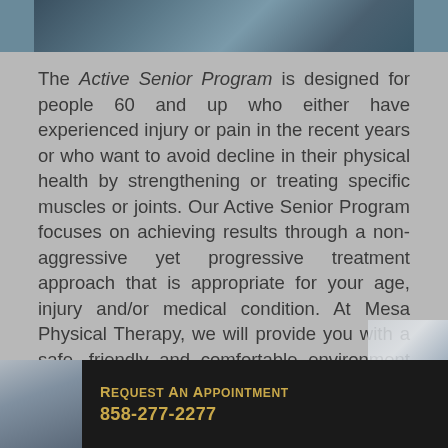[Figure (photo): Top banner photo showing bicycle handlebars and outdoor scene]
The Active Senior Program is designed for people 60 and up who either have experienced injury or pain in the recent years or who want to avoid decline in their physical health by strengthening or treating specific muscles or joints. Our Active Senior Program focuses on achieving results through a non-aggressive yet progressive treatment approach that is appropriate for your age, injury and/or medical condition. At Mesa Physical Therapy, we will provide you with a safe, friendly and comfortable environment where your therapist will patiently take the time to understand your wants and needs. Together, we will set realistic expectations and work on setting short-term goals that will encourage you to continue fighting for the
Request An Appointment 858-277-2277